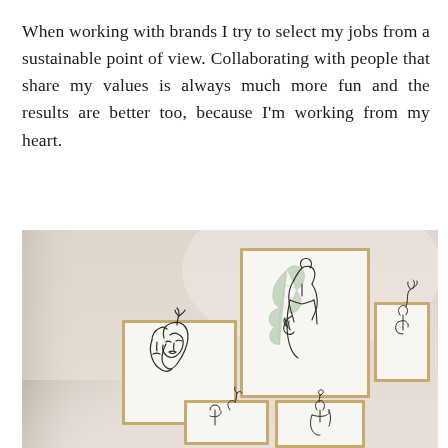When working with brands I try to select my jobs from a sustainable point of view. Collaborating with people that share my values is always much more fun and the results are better too, because I'm working from my heart.
[Figure (photo): A photograph of a wall gallery featuring five framed minimalist line-art prints in light wooden frames. The central and largest frame shows a woman's face and upper body with a monstera leaf in soft green. To the left is a frame with a continuous line drawing of a face. To the right is a smaller frame with a figure. Below are two smaller frames with additional line art figures.]